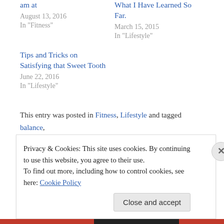am at
August 13, 2016
In "Fitness"
What I Have Learned So Far.
March 15, 2015
In "Lifestyle"
Tips and Tricks on Satisfying that Sweet Tooth
June 22, 2016
In "Lifestyle"
This entry was posted in Fitness, Lifestyle and tagged balance, Fitness, healthy. Bookmark the permalink.
Privacy & Cookies: This site uses cookies. By continuing to use this website, you agree to their use.
To find out more, including how to control cookies, see here: Cookie Policy
Close and accept